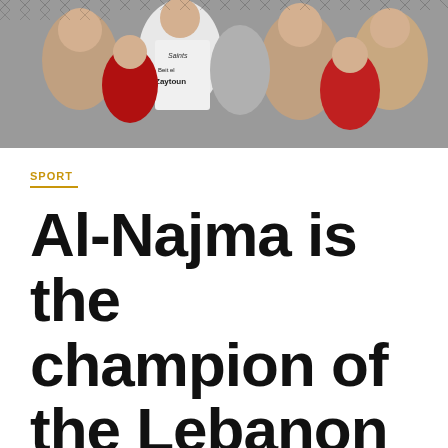[Figure (photo): Crowd of people pressing against a chain-link fence, one person wearing a white 'Saints' jersey with 'Beit el Zaytoun' text visible]
SPORT
Al-Najma is the champion of the Lebanon Cup at the expense of